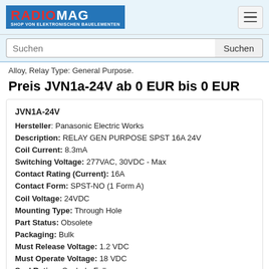RADIOMAG — SHOP VON ELEKTRONISCHEN BAUELEMENTEN
Alloy, Relay Type: General Purpose.
Preis JVN1a-24V ab 0 EUR bis 0 EUR
| JVN1A-24V |  |
| Hersteller | Panasonic Electric Works |
| Description | RELAY GEN PURPOSE SPST 16A 24V |
| Coil Current | 8.3mA |
| Switching Voltage | 277VAC, 30VDC - Max |
| Contact Rating (Current) | 16A |
| Contact Form | SPST-NO (1 Form A) |
| Coil Voltage | 24VDC |
| Mounting Type | Through Hole |
| Part Status | Obsolete |
| Packaging | Bulk |
| Must Release Voltage | 1.2 VDC |
| Must Operate Voltage | 18 VDC |
| Seal Rating | Sealed - Fully |
| Termination Style | PC Pin |
| Coil Type | Non Latching |
| Operate Time | 12ms |